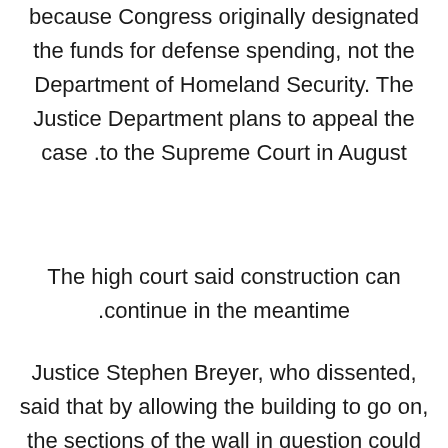because Congress originally designated the funds for defense spending, not the Department of Homeland Security. The Justice Department plans to appeal the case to the Supreme Court in August.
The high court said construction can continue in the meantime.
Justice Stephen Breyer, who dissented, said that by allowing the building to go on, the sections of the wall in question could be completed by time a final decision is made by the court.